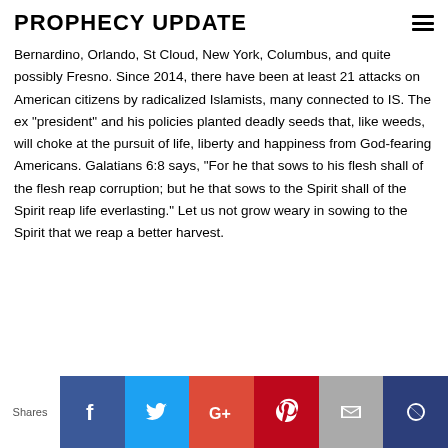PROPHECY UPDATE
Bernardino, Orlando, St Cloud, New York, Columbus, and quite possibly Fresno. Since 2014, there have been at least 21 attacks on American citizens by radicalized Islamists, many connected to IS. The ex "president" and his policies planted deadly seeds that, like weeds, will choke at the pursuit of life, liberty and happiness from God-fearing Americans. Galatians 6:8 says, "For he that sows to his flesh shall of the flesh reap corruption; but he that sows to the Spirit shall of the Spirit reap life everlasting." Let us not grow weary in sowing to the Spirit that we reap a better harvest.
Shares